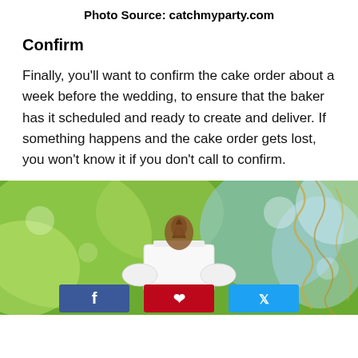Photo Source: catchmyparty.com
Confirm
Finally, you'll want to confirm the cake order about a week before the wedding, to ensure that the baker has it scheduled and ready to create and deliver. If something happens and the cake order gets lost, you won't know it if you don't call to confirm.
[Figure (photo): Outdoor photo of a wedding cake topper (small decorative figure with leaf/floral details) being held by hands in white gloves, with lush green bokeh background and curling gold ribbon/vine decorations. Social share buttons (Facebook, Pinterest, Twitter) visible at the bottom of the image.]